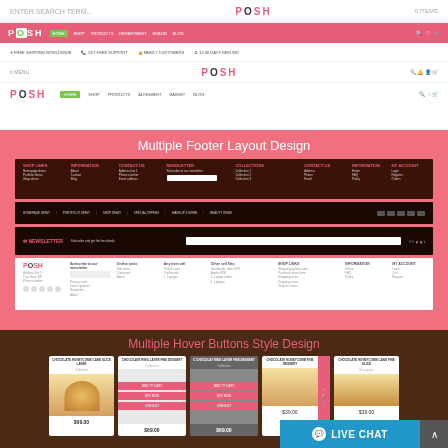[Figure (screenshot): Top navigation bars of POSH e-commerce theme showing multiple header layouts with logo, navigation menus, and pink banner with icons]
Multiple Footer Layout Design
[Figure (screenshot): Multiple footer layout designs for POSH theme showing dark brown footer variations with shop links, information, contact us, newsletter sections]
Multiple Hover Buttons Style Design
[Figure (screenshot): Product cards showing chocolate cake items with hover button overlays in pink, price labels, and product thumbnails]
LIVE CHAT